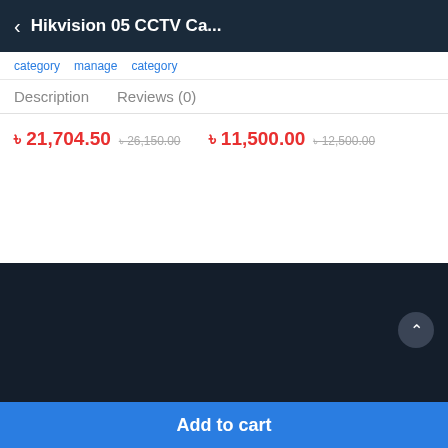Hikvision 05 CCTV Ca...
Description   Reviews (0)
৳ 21,704.50  ৳ 26,150.00   ৳ 11,500.00  ৳ 12,500.00
[Figure (logo): TRIMATRIK logo in blue metallic text]
Corporate Office:
House#01
(Ground Floor)
Call Us
01789-636363
0185-3330344
Add to cart